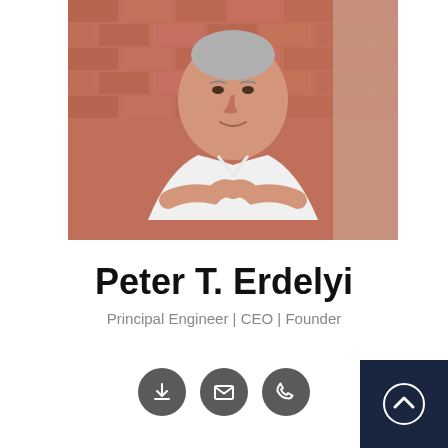[Figure (photo): Portrait photo of Peter T. Erdelyi, a middle-aged man with grey hair wearing a white shirt with arms crossed, standing in front of a brick wall]
Peter T. Erdelyi
Principal Engineer | CEO | Founder
[Figure (infographic): Three dark grey circular icon buttons: download, email, and phone]